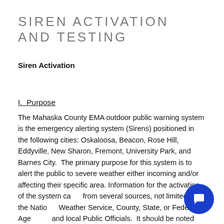SIREN ACTIVATION AND TESTING
Siren Activation
I.  Purpose
The Mahaska County EMA outdoor public warning system is the emergency alerting system (Sirens) positioned in the following cities: Oskaloosa, Beacon, Rose Hill, Eddyville, New Sharon, Fremont, University Park, and Barnes City.  The primary purpose for this system is to alert the public to severe weather either incoming and/or affecting their specific area.  Information for the activation of the system came from several sources, not limited to the National Weather Service, County, State, or Federal Agencies, and local Public Officials.  It should be noted that this